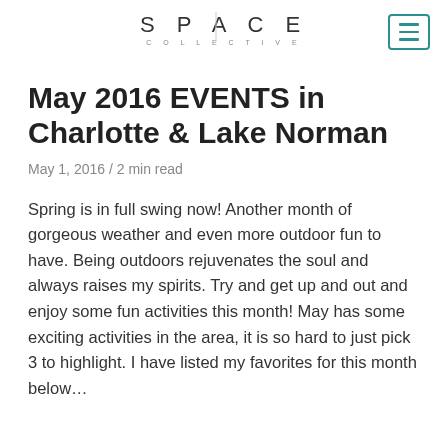SPACE COLLECTIVE
May 2016 EVENTS in Charlotte & Lake Norman
May 1, 2016 / 2 min read
Spring is in full swing now!  Another month of gorgeous weather and even more outdoor fun to have.  Being outdoors rejuvenates the soul and always raises my spirits.  Try and get up and out and enjoy some fun activities this month!  May has some exciting activities in the area, it is so hard to just pick 3 to highlight.  I have listed my favorites for this month below…